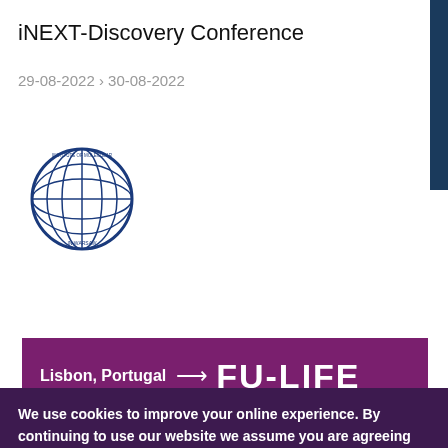iNEXT-Discovery Conference
29-08-2022 > 30-08-2022
[Figure (logo): Institute of Molecular and Cell Biology Warsaw circular globe logo]
[Figure (infographic): Purple banner with text: Lisbon, Portugal with arrow pointing to FU-LIFE logo]
We use cookies to improve your online experience. By continuing to use our website we assume you are agreeing the use of these cookies. Take a look at our Cookies Policy to learn more and change your preferences.
Accept